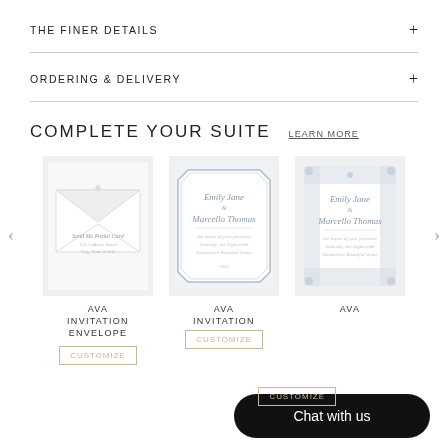THE FINER DETAILS
ORDERING & DELIVERY
COMPLETE YOUR SUITE
LEARN MORE
[Figure (illustration): Ava Invitation Envelope - white envelope with script text]
AVA
INVITATION
ENVELOPE
CUSTOMIZE
[Figure (illustration): Ava Invitation - card with floral border and script text]
AVA
INVITATION
CUSTOMIZE
[Figure (illustration): Ava Invitation - card with dense floral border and script text]
AVA
CUSTOMIZE